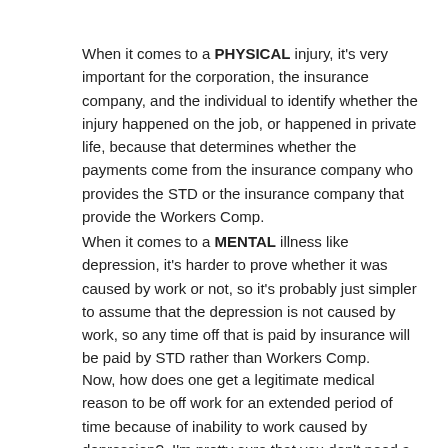When it comes to a PHYSICAL injury, it's very important for the corporation, the insurance company, and the individual to identify whether the injury happened on the job, or happened in private life, because that determines whether the payments come from the insurance company who provides the STD or the insurance company that provide the Workers Comp.
When it comes to a MENTAL illness like depression, it's harder to prove whether it was caused by work or not, so it's probably just simpler to assume that the depression is not caused by work, so any time off that is paid by insurance will be paid by STD rather than Workers Comp.
Now, how does one get a legitimate medical reason to be off work for an extended period of time because of inability to work caused by depression?  I'm pretty sure that you don't need a psychiatrist to make the original medical authorization.  For example, I believe that a regular